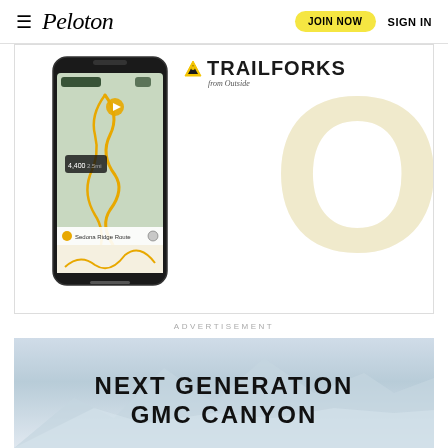Peloton — JOIN NOW  SIGN IN
[Figure (screenshot): Trailforks app advertisement showing a phone mockup with a mountain bike trail map and a large decorative 'O' in the background, with the Trailforks from Outside logo]
ADVERTISEMENT
[Figure (photo): Advertisement banner showing 'NEXT GENERATION GMC CANYON' text over a mountain landscape background]